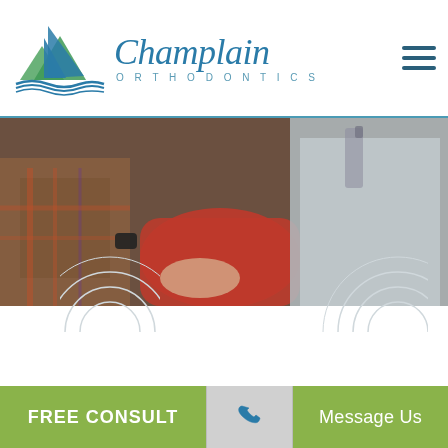[Figure (logo): Champlain Orthodontics logo with sailboat and mountains graphic, teal/green color scheme]
[Figure (photo): Close-up photo of orthodontist examining a patient, showing hands of dental professional in white coat and patient in red top, with another person in plaid shirt nearby]
FREE CONSULT
[Figure (illustration): Phone icon for call button]
Message Us